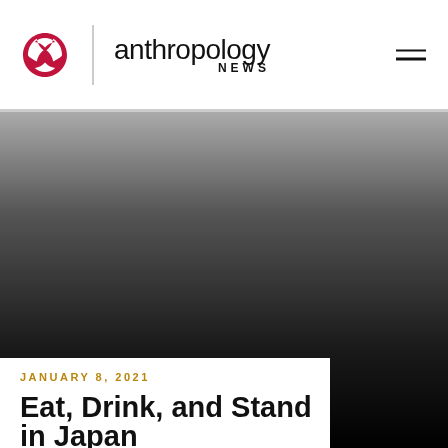anthropology NEWS
[Figure (photo): Dark background hero image fading from gray at top to near-black at bottom, with a white overlay box in the lower left showing article date and title.]
JANUARY 8, 2021
Eat, Drink, and Stand in Japan